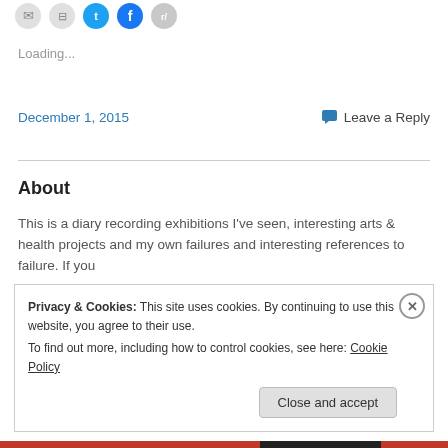[Figure (illustration): Row of social share icon circles: email (grey), print (grey), Twitter (blue), Facebook (dark blue), Reddit (grey)]
Loading...
December 1, 2015    Leave a Reply
About
This is a diary recording exhibitions I've seen, interesting arts & health projects and my own failures and interesting references to failure. If you
Privacy & Cookies: This site uses cookies. By continuing to use this website, you agree to their use.
To find out more, including how to control cookies, see here: Cookie Policy

Close and accept